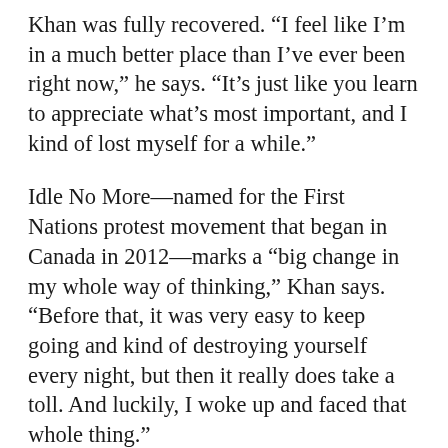Khan was fully recovered. “I feel like I’m in a much better place than I’ve ever been right now,” he says. “It’s just like you learn to appreciate what’s most important, and I kind of lost myself for a while.”
Idle No More—named for the First Nations protest movement that began in Canada in 2012—marks a “big change in my whole way of thinking,” Khan says. “Before that, it was very easy to keep going and kind of destroying yourself every night, but then it really does take a toll. And luckily, I woke up and faced that whole thing.”
Scattered among the jangly tambourines, funky bass lines and sexy horns on Idle No More are multiple serious messages. On “Darkness,” Khan sings somberly, “Endless darkness hiding more